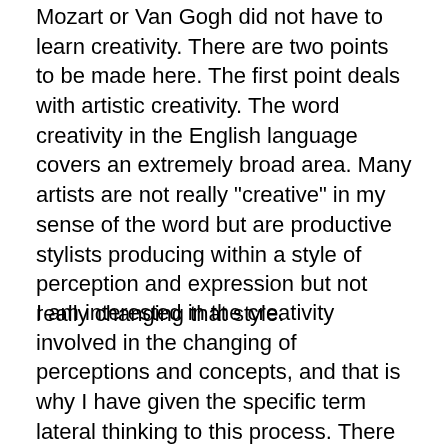Mozart or Van Gogh did not have to learn creativity. There are two points to be made here. The first point deals with artistic creativity. The word creativity in the English language covers an extremely broad area. Many artists are not really "creative" in my sense of the word but are productive stylists producing within a style of perception and expression but not really changing that style.
I am interested in the creativity involved in the changing of perceptions and concepts, and that is why I have given the specific term lateral thinking to this process. There may be an overlap with artistic creativity and some artists (composers, etc.) do use my methods, but there are other aspects which may be quite different (emotional and spiritual resonances, etc.).